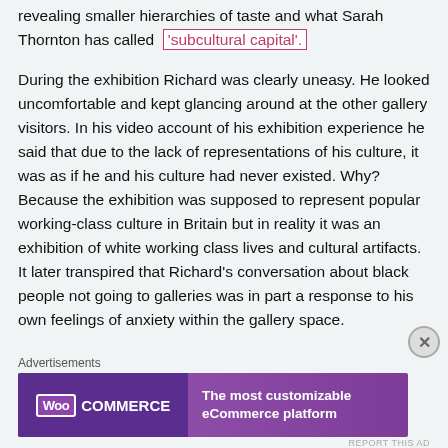revealing smaller hierarchies of taste and what Sarah Thornton has called 'subcultural capital'.
During the exhibition Richard was clearly uneasy. He looked uncomfortable and kept glancing around at the other gallery visitors. In his video account of his exhibition experience he said that due to the lack of representations of his culture, it was as if he and his culture had never existed. Why? Because the exhibition was supposed to represent popular working-class culture in Britain but in reality it was an exhibition of white working class lives and cultural artifacts. It later transpired that Richard's conversation about black people not going to galleries was in part a response to his own feelings of anxiety within the gallery space.
Advertisements
[Figure (other): WooCommerce advertisement banner: 'The most customizable eCommerce platform']